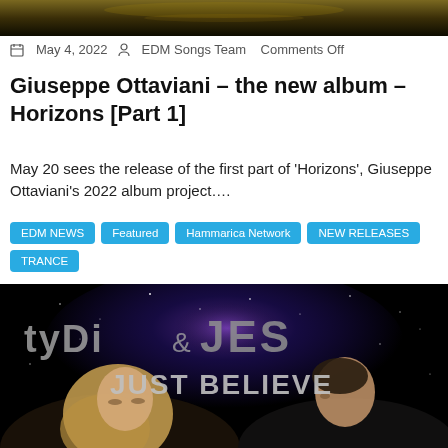[Figure (photo): Top partial image with dark golden/night sky background]
May 4, 2022   EDM Songs Team   Comments Off
Giuseppe Ottaviani – the new album – Horizons [Part 1]
May 20 sees the release of the first part of 'Horizons', Giuseppe Ottaviani's 2022 album project….
EDM NEWS
Featured
Hammarica Network
NEW RELEASES
TRANCE
[Figure (photo): Album artwork: tyDi & JES – Just Believe. Dark space/nebula background with two people facing each other, large text 'tyDi & JES' and 'JUST BELIEVE']